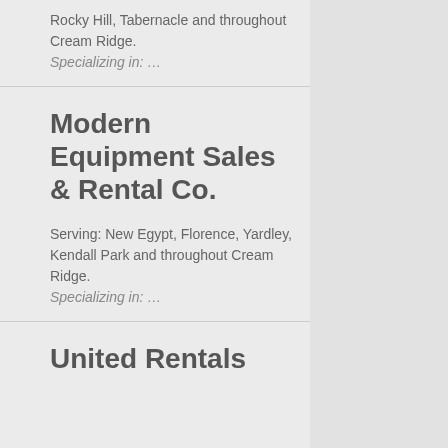Rocky Hill, Tabernacle and throughout Cream Ridge.
Specializing in: …
Modern Equipment Sales & Rental Co.
Serving: New Egypt, Florence, Yardley, Kendall Park and throughout Cream Ridge.
Specializing in: …
United Rentals